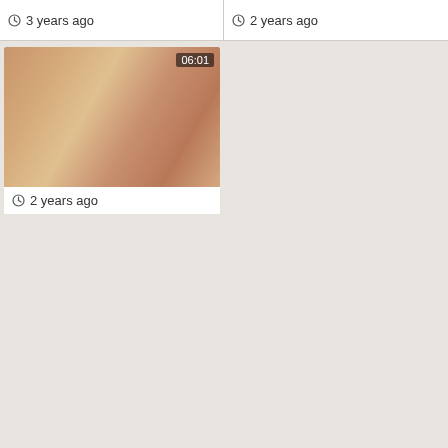3 years ago
2 years ago
[Figure (photo): Video thumbnail showing people, duration badge 06:01]
2 years ago